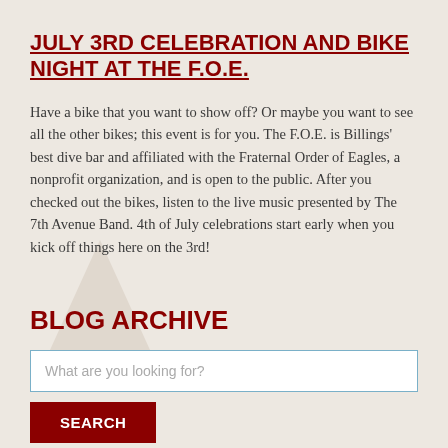JULY 3RD CELEBRATION AND BIKE NIGHT AT THE F.O.E.
Have a bike that you want to show off? Or maybe you want to see all the other bikes; this event is for you. The F.O.E. is Billings' best dive bar and affiliated with the Fraternal Order of Eagles, a nonprofit organization, and is open to the public. After you checked out the bikes, listen to the live music presented by The 7th Avenue Band. 4th of July celebrations start early when you kick off things here on the 3rd!
BLOG ARCHIVE
What are you looking for?
SEARCH